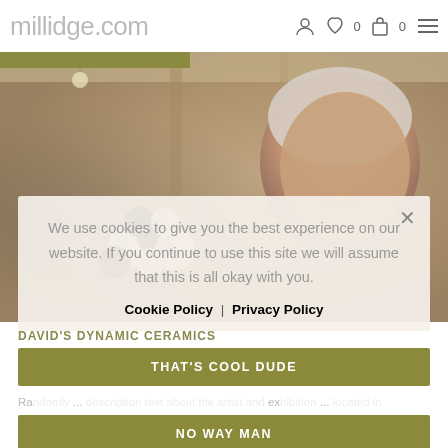millidge.com
[Figure (photo): Photo of a man smiling in profile view, with ceramic sculptural objects (white and dark spherical shapes) in the foreground, inside what appears to be an art gallery or studio with wooden beams visible.]
We use cookies to give you the best experience on our website. If you continue to use this site we will assume that this is all okay with you.
Cookie Policy | Privacy Policy
DAVID'S DYNAMIC CERAMICS
THAT'S COOL DUDE
Ra... ex... Chelmsford...
NO WAY MAN